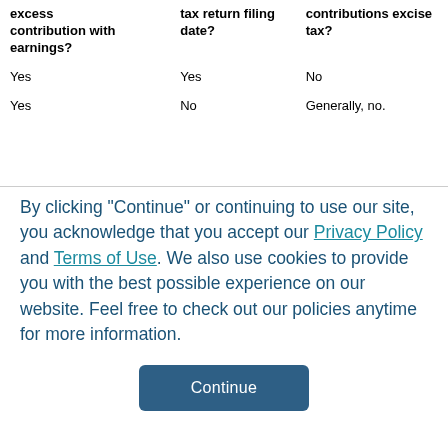| excess contribution with earnings? | tax return filing date? | contributions excise tax? |
| --- | --- | --- |
| Yes | Yes | No |
| Yes | No | Generally, no. |
By clicking "Continue" or continuing to use our site, you acknowledge that you accept our Privacy Policy and Terms of Use. We also use cookies to provide you with the best possible experience on our website. Feel free to check out our policies anytime for more information.